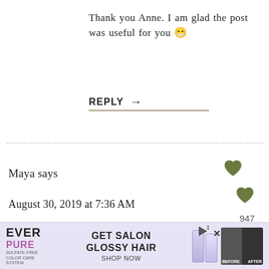Thank you Anne. I am glad the post was useful for you 😁
REPLY →
Maya says
August 30, 2019 at 7:36 AM
Great bento idea!! How many ml is your bento?
REPLY →
[Figure (screenshot): Ad banner: EVER PURE sulfate-free, GET SALON GLOSSY HAIR, SHOP NOW, with product images and before/after hair photos]